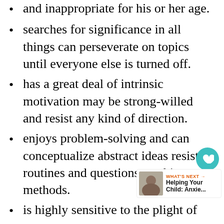and inappropriate for his or her age.
searches for significance in all things can perseverate on topics until everyone else is turned off.
has a great deal of intrinsic motivation may be strong-willed and resist any kind of direction.
enjoys problem-solving and can conceptualize abstract ideas resists routines and questions teaching methods.
is highly sensitive to the plight of others may not be able to play for fear of hurting friends inadvertently, coming across aloof.
likes things well-organized may